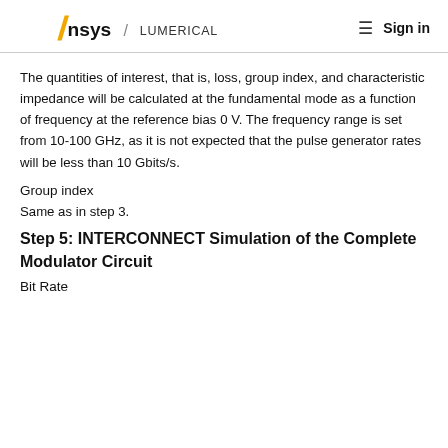Ansys / LUMERICAL  ≡  Sign in
The quantities of interest, that is, loss, group index, and characteristic impedance will be calculated at the fundamental mode as a function of frequency at the reference bias 0 V. The frequency range is set from 10-100 GHz, as it is not expected that the pulse generator rates will be less than 10 Gbits/s.
Group index
Same as in step 3.
Step 5: INTERCONNECT Simulation of the Complete Modulator Circuit
Bit Rate